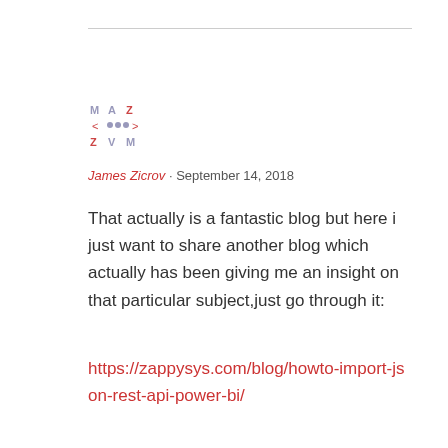[Figure (illustration): Avatar icon made of letters/characters in a grid pattern, pixelated style in muted blue/red colors]
James Zicrov · September 14, 2018
That actually is a fantastic blog but here i just want to share another blog which actually has been giving me an insight on that particular subject,just go through it:
https://zappysys.com/blog/howto-import-json-rest-api-power-bi/
★ Like
Reply